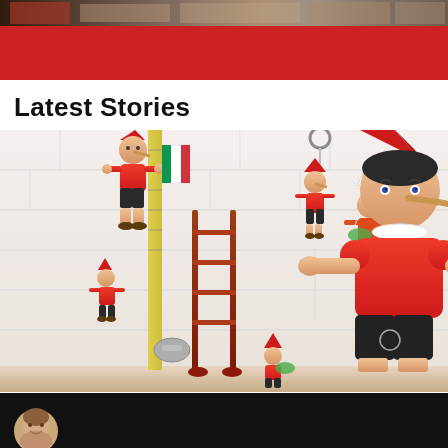[Figure (photo): Top website banner with red background and a dark strip of photo content at the very top]
Latest Stories
[Figure (photo): Multiple Pinocchio wooden toy figurines of various sizes displayed on a shelf against a white brick-patterned wall background. Figures wearing red hats and red shirts with black shorts, including keychains and puppets.]
[Figure (photo): Bottom dark banner with a circular female avatar photo partially visible]